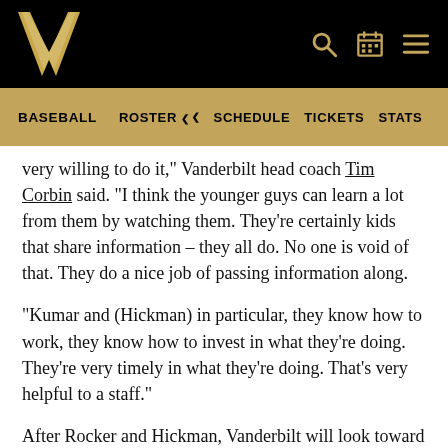Vanderbilt Athletics - Baseball navigation header
very willing to do it," Vanderbilt head coach Tim Corbin said. "I think the younger guys can learn a lot from them by watching them. They're certainly kids that share information – they all do. No one is void of that. They do a nice job of passing information along.
"Kumar and (Hickman) in particular, they know how to work, they know how to invest in what they're doing. They're very timely in what they're doing. That's very helpful to a staff."
After Rocker and Hickman, Vanderbilt will look toward junior Jake Eder, sophomore Ethan Smith